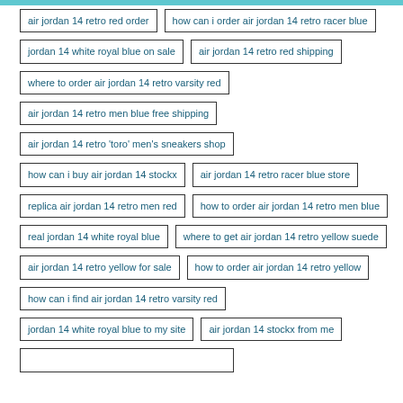air jordan 14 retro red order
how can i order air jordan 14 retro racer blue
jordan 14 white royal blue on sale
air jordan 14 retro red shipping
where to order air jordan 14 retro varsity red
air jordan 14 retro men blue free shipping
air jordan 14 retro 'toro' men's sneakers shop
how can i buy air jordan 14 stockx
air jordan 14 retro racer blue store
replica air jordan 14 retro men red
how to order air jordan 14 retro men blue
real jordan 14 white royal blue
where to get air jordan 14 retro yellow suede
air jordan 14 retro yellow for sale
how to order air jordan 14 retro yellow
how can i find air jordan 14 retro varsity red
jordan 14 white royal blue to my site
air jordan 14 stockx from me